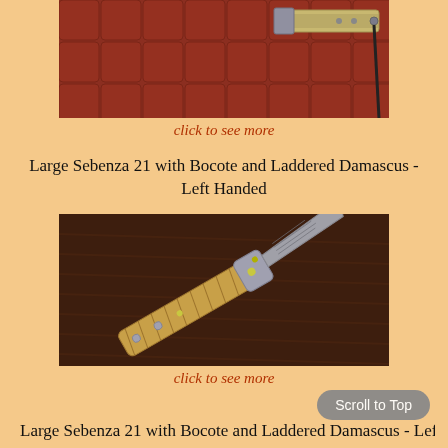[Figure (photo): Partial top view of a folding knife with wooden handle on a red/maroon textured background]
click to see more
Large Sebenza 21 with Bocote and Laddered Damascus - Left Handed
[Figure (photo): Full view of a folding knife with wooden Bocote handle and Damascus steel blade on a dark brown leather background]
click to see more
Large Sebenza 21 with Bocote and Laddered Damascus - Left